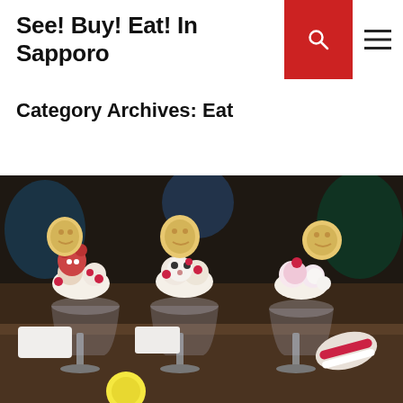See! Buy! Eat! In Sapporo
Category Archives: Eat
[Figure (photo): Three elaborate ice cream parfaits in tall glasses on a dark restaurant table, each topped with decorative animal-shaped cookies and fresh raspberries, with people visible in the background.]